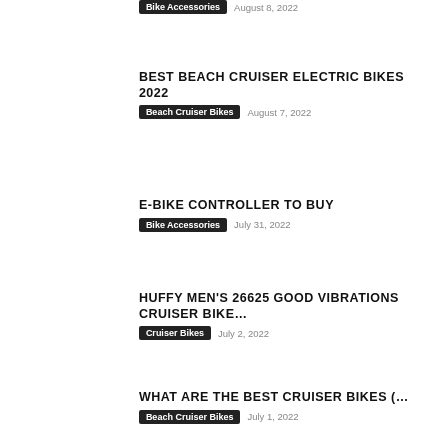Bike Accessories  August 8, 2022
BEST BEACH CRUISER ELECTRIC BIKES 2022
Beach Cruiser Bikes  August 7, 2022
E-BIKE CONTROLLER TO BUY
Bike Accessories  July 31, 2022
HUFFY MEN'S 26625 GOOD VIBRATIONS CRUISER BIKE...
Cruiser Bikes  July 2, 2022
WHAT ARE THE BEST CRUISER BIKES (...
Beach Cruiser Bikes  July 1, 2022